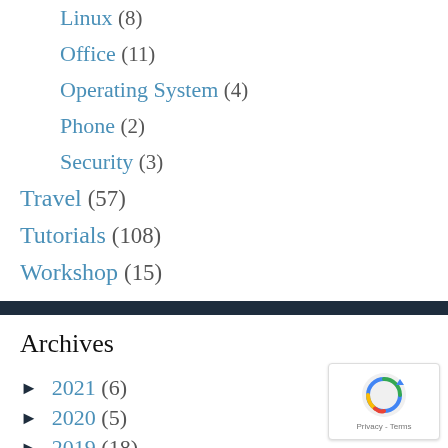Linux (8)
Office (11)
Operating System (4)
Phone (2)
Security (3)
Travel (57)
Tutorials (108)
Workshop (15)
Archives
► 2021 (6)
► 2020 (5)
► 2019 (18)
► 2018 (39)